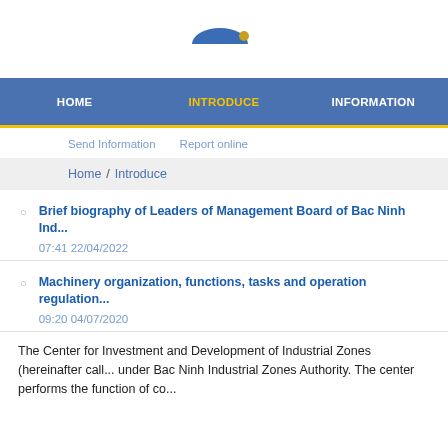[Figure (logo): Partial website logo with blue arc/dome shape and yellow dot element]
HOME   INTRODUCE   INFORMATION
Send Information   Report online
Home / Introduce
Brief biography of Leaders of Management Board of Bac Ninh Ind...
07:41 22/04/2022
Machinery organization, functions, tasks and operation regulation...
09:20 04/07/2020
The Center for Investment and Development of Industrial Zones (hereinafter call... under Bac Ninh Industrial Zones Authority. The center performs the function of co...